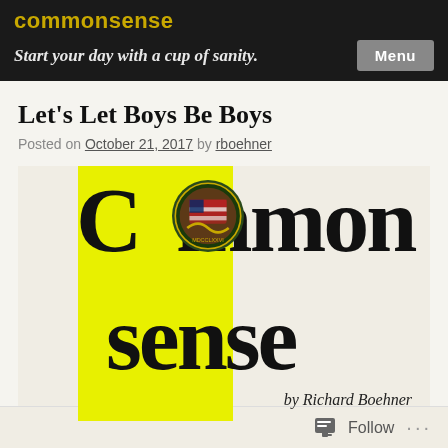commonsense
Start your day with a cup of sanity.
Let's Let Boys Be Boys
Posted on October 21, 2017 by rboehner
[Figure (logo): Common Sense by Richard Boehner logo: large serif text 'Common sense' on yellow and cream background with an American eagle/snake seal replacing the 'o' in Common]
Follow ...